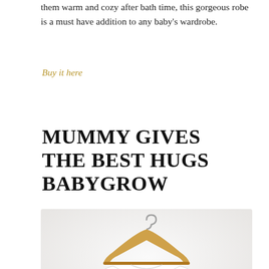them warm and cozy after bath time, this gorgeous robe is a must have addition to any baby's wardrobe.
Buy it here
MUMMY GIVES THE BEST HUGS BABYGROW
[Figure (photo): White baby babygrow/onesie hanging on a wooden clothes hanger against a white/light grey background, with small star or dot print on the front. A teal shopping bag icon with a heart is overlaid in the bottom right corner.]